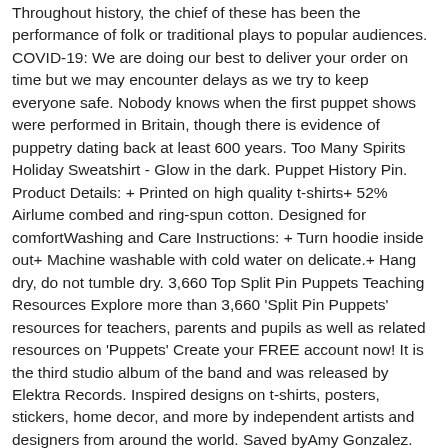Throughout history, the chief of these has been the performance of folk or traditional plays to popular audiences. COVID-19: We are doing our best to deliver your order on time but we may encounter delays as we try to keep everyone safe. Nobody knows when the first puppet shows were performed in Britain, though there is evidence of puppetry dating back at least 600 years. Too Many Spirits Holiday Sweatshirt - Glow in the dark. Puppet History Pin. Product Details: + Printed on high quality t-shirts+ 52% Airlume combed and ring-spun cotton. Designed for comfortWashing and Care Instructions: + Turn hoodie inside out+ Machine washable with cold water on delicate.+ Hang dry, do not tumble dry. 3,660 Top Split Pin Puppets Teaching Resources Explore more than 3,660 'Split Pin Puppets' resources for teachers, parents and pupils as well as related resources on 'Puppets' Create your FREE account now! It is the third studio album of the band and was released by Elektra Records. Inspired designs on t-shirts, posters, stickers, home decor, and more by independent artists and designers from around the world. Saved byAmy Gonzalez. On the Options bar, you have two Pin Depth options, and you can click either of the icons to perform commands of moving the selected pin forward or backward. Product Details: + 2"x2.5" sticker + Very very high quality vinyl sticker+ Silkscreened not digitally printed + At least 7 layers of ink layered on for the